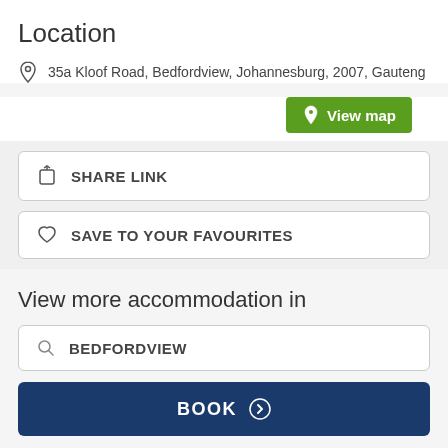Location
35a Kloof Road, Bedfordview, Johannesburg, 2007, Gauteng
View map
SHARE LINK
SAVE TO YOUR FAVOURITES
View more accommodation in
BEDFORDVIEW
BOOK